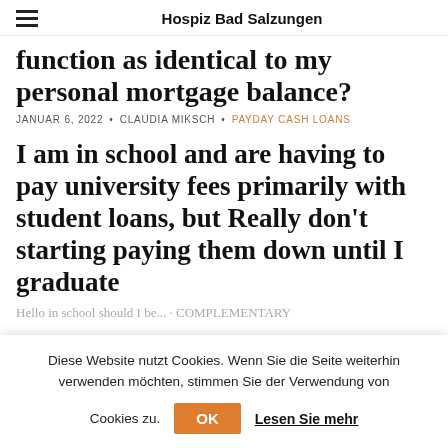Hospiz Bad Salzungen
function as identical to my personal mortgage balance?
JANUAR 6, 2022 • CLAUDIA MIKSCH • PAYDAY CASH LOANS
I am in school and are having to pay university fees primarily with student loans, but Really don't starting paying them down until I graduate
Diese Website nutzt Cookies. Wenn Sie die Seite weiterhin verwenden möchten, stimmen Sie der Verwendung von Cookies zu.
OK
Lesen Sie mehr